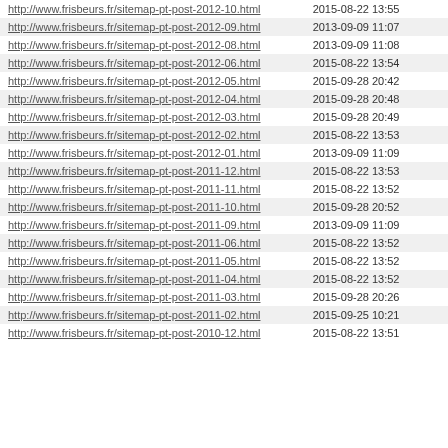| URL | Date |
| --- | --- |
| http://www.frisbeurs.fr/sitemap-pt-post-2012-10.html | 2015-08-22 13:55 |
| http://www.frisbeurs.fr/sitemap-pt-post-2012-09.html | 2013-09-09 11:07 |
| http://www.frisbeurs.fr/sitemap-pt-post-2012-08.html | 2013-09-09 11:08 |
| http://www.frisbeurs.fr/sitemap-pt-post-2012-06.html | 2015-08-22 13:54 |
| http://www.frisbeurs.fr/sitemap-pt-post-2012-05.html | 2015-09-28 20:42 |
| http://www.frisbeurs.fr/sitemap-pt-post-2012-04.html | 2015-09-28 20:48 |
| http://www.frisbeurs.fr/sitemap-pt-post-2012-03.html | 2015-09-28 20:49 |
| http://www.frisbeurs.fr/sitemap-pt-post-2012-02.html | 2015-08-22 13:53 |
| http://www.frisbeurs.fr/sitemap-pt-post-2012-01.html | 2013-09-09 11:09 |
| http://www.frisbeurs.fr/sitemap-pt-post-2011-12.html | 2015-08-22 13:53 |
| http://www.frisbeurs.fr/sitemap-pt-post-2011-11.html | 2015-08-22 13:52 |
| http://www.frisbeurs.fr/sitemap-pt-post-2011-10.html | 2015-09-28 20:52 |
| http://www.frisbeurs.fr/sitemap-pt-post-2011-09.html | 2013-09-09 11:09 |
| http://www.frisbeurs.fr/sitemap-pt-post-2011-06.html | 2015-08-22 13:52 |
| http://www.frisbeurs.fr/sitemap-pt-post-2011-05.html | 2015-08-22 13:52 |
| http://www.frisbeurs.fr/sitemap-pt-post-2011-04.html | 2015-08-22 13:52 |
| http://www.frisbeurs.fr/sitemap-pt-post-2011-03.html | 2015-09-28 20:26 |
| http://www.frisbeurs.fr/sitemap-pt-post-2011-02.html | 2015-09-25 10:21 |
| http://www.frisbeurs.fr/sitemap-pt-post-2010-12.html | 2015-08-22 13:51 |